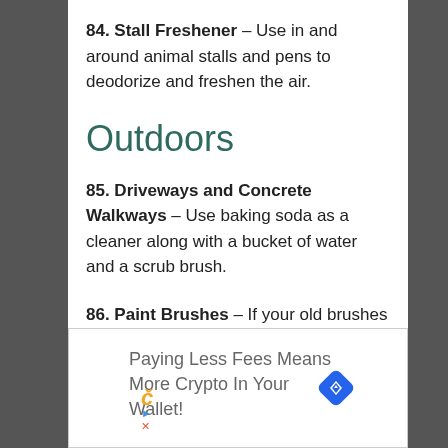84. Stall Freshener – Use in and around animal stalls and pens to deodorize and freshen the air.
Outdoors
85. Driveways and Concrete Walkways – Use baking soda as a cleaner along with a bucket of water and a scrub brush.
86. Paint Brushes – If your old brushes are in bad shape, soak them in a mixture of water
[Figure (other): Advertisement banner: Paying Less Fees Means More Crypto In Your Wallet! with Coinbase-style icon and blue diamond navigation icon]